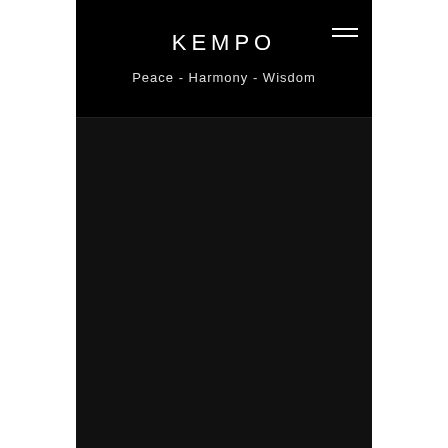KEMPO
Peace - Harmony - Wisdom
[Figure (other): Dark body area below header, mostly black/dark background with no visible content]